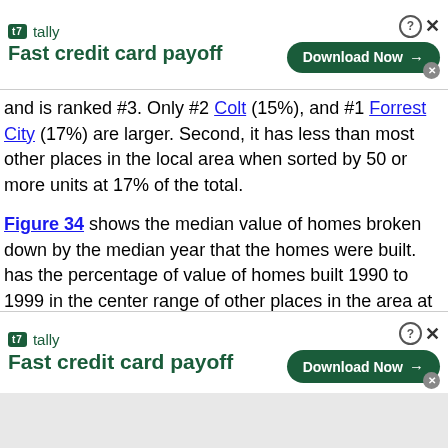[Figure (screenshot): Tally 'Fast credit card payoff' advertisement banner at top with Download Now button]
and is ranked #3. Only #2 Colt (15%), and #1 Forrest City (17%) are larger. Second, it has less than most other places in the local area when sorted by 50 or more units at 17% of the total.
Figure 34 shows the median value of homes broken down by the median year that the homes were built. has the percentage of value of homes built 1990 to 1999 in the center range of other places in the area at $18,200 of the total.
The next two charts show both the average household size of homeowners versus the average household size of renters
[Figure (screenshot): Tally 'Fast credit card payoff' advertisement banner at bottom with Download Now button]